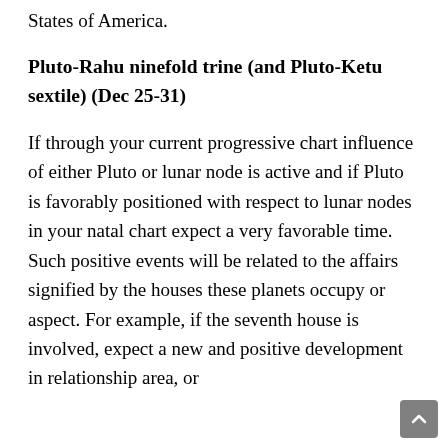States of America.
Pluto-Rahu ninefold trine (and Pluto-Ketu sextile) (Dec 25-31)
If through your current progressive chart influence of either Pluto or lunar node is active and if Pluto is favorably positioned with respect to lunar nodes in your natal chart expect a very favorable time. Such positive events will be related to the affairs signified by the houses these planets occupy or aspect. For example, if the seventh house is involved, expect a new and positive development in relationship area, or